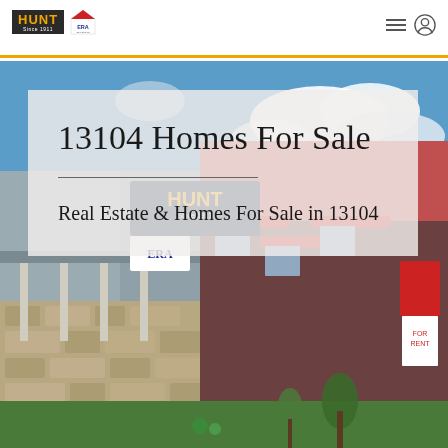[Figure (logo): HUNT Real Estate and ERA Real Estate logos in website header]
[Figure (photo): Exterior photo of a HUNT Real Estate office building with stone facade, siding, and ERA signage under a blue sky with clouds]
13104 Homes For Sale
Real Estate & Homes For Sale in 13104